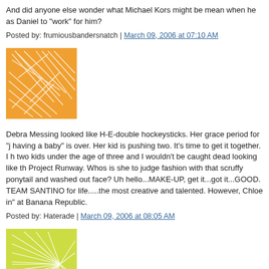And did anyone else wonder what Michael Kors might be mean when he as Daniel to "work" for him?
Posted by: frumiousbandersnatch | March 09, 2006 at 07:10 AM
[Figure (illustration): Orange square avatar with abstract white line pattern]
Debra Messing looked like H-E-double hockeysticks. Her grace period for "j having a baby" is over. Her kid is pushing two. It's time to get it together. I h two kids under the age of three and I wouldn't be caught dead looking like th Project Runway. Whos is she to judge fashion with that scruffy ponytail and washed out face? Uh hello...MAKE-UP, get it...got it...GOOD.
TEAM SANTINO for life.....the most creative and talented. However, Chloe in" at Banana Republic.
Posted by: Haterade | March 09, 2006 at 08:05 AM
[Figure (illustration): Yellow-green square avatar with abstract white radial/burst line pattern]
Wait a minute. First of all - even though Chloe's poofy sleeve, shiny fabic, a matching shrug get up isn't personally my taste, I can recognize that she deserved to win. Her seams WERE unusual, she DOES know how to fit fab